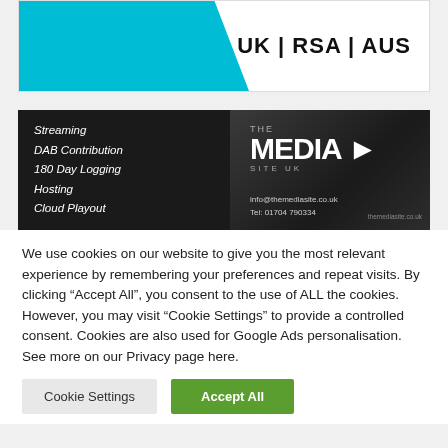[Figure (logo): Top banner with cyan shape on left and 'UK | RSA | AUS' text on right]
[Figure (photo): The Media Site UK advertisement banner with streaming services list on dark background]
We use cookies on our website to give you the most relevant experience by remembering your preferences and repeat visits. By clicking "Accept All", you consent to the use of ALL the cookies. However, you may visit "Cookie Settings" to provide a controlled consent. Cookies are also used for Google Ads personalisation. See more on our Privacy page here.
Cookie Settings
Accept All